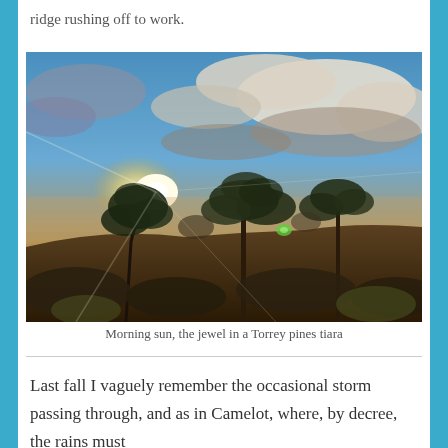ridge rushing off to work.
[Figure (photo): Landscape photograph showing morning sunlight breaking through dramatic clouds over Torrey pine trees on a ridge, with rays of light and a lens flare visible.]
Morning sun, the jewel in a Torrey pines tiara
Last fall I vaguely remember the occasional storm passing through, and as in Camelot, where, by decree, the rains must